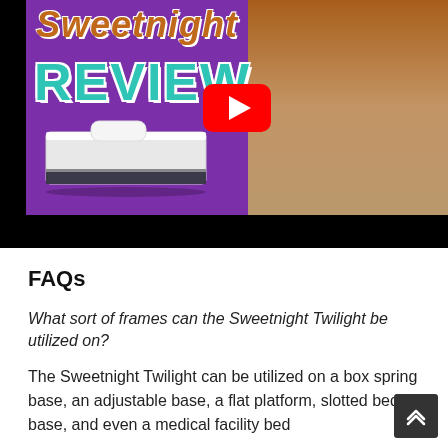[Figure (screenshot): YouTube video thumbnail for Sweetnight mattress review showing a man pointing at a mattress, with 'Sweetnight' in brown italic text and 'REVIEW' in teal block letters on a purple background, with a YouTube play button overlay]
FAQs
What sort of frames can the Sweetnight Twilight be utilized on?
The Sweetnight Twilight can be utilized on a box spring base, an adjustable base, a flat platform, slotted bed base, and even a medical facility bed